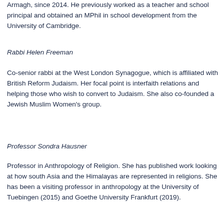Armagh, since 2014. He previously worked as a teacher and school principal and obtained an MPhil in school development from the University of Cambridge.
Rabbi Helen Freeman
Co-senior rabbi at the West London Synagogue, which is affiliated with British Reform Judaism. Her focal point is interfaith relations and helping those who wish to convert to Judaism. She also co-founded a Jewish Muslim Women's group.
Professor Sondra Hausner
Professor in Anthropology of Religion. She has published work looking at how south Asia and the Himalayas are represented in religions. She has been a visiting professor in anthropology at the University of Tuebingen (2015) and Goethe University Frankfurt (2019).